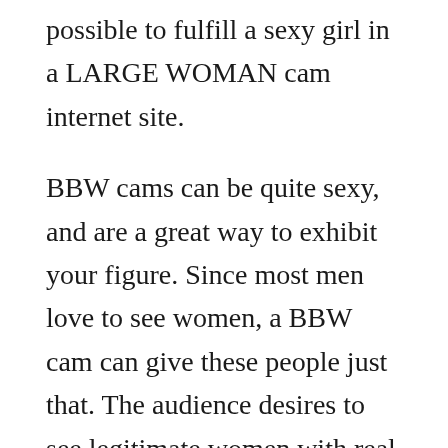possible to fulfill a sexy girl in a LARGE WOMAN cam internet site.
BBW cams can be quite sexy, and are a great way to exhibit your figure. Since most men love to see women, a BBW cam can give these people just that. The audience desires to see legitimate women with real individuality and https://bbwcamchat.com/de/uberprufung/cam soda-review/ they want to relate to a woman